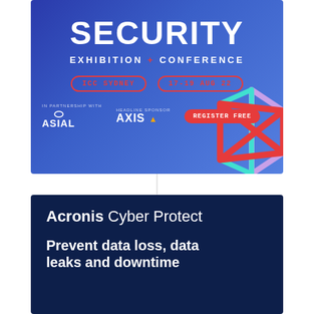[Figure (infographic): Security Exhibition + Conference banner ad with dark blue gradient background. Large white bold text reading SECURITY at top, with EXHIBITION + CONFERENCE below. Red-bordered badge pills showing ICC SYDNEY and 17-19 AUG 22. In partnership with ASIAL and HEADLINE SPONSOR AXIS logos on left. Red REGISTER FREE button pill. Geometric 3D cube/ribbon shape in red, cyan and lavender on right side.]
[Figure (infographic): Acronis Cyber Protect advertisement banner on dark navy blue background. Text reads Acronis Cyber Protect in white with Acronis bold and Cyber Protect in lighter weight. Below in bold white: Prevent data loss, data leaks and downtime]